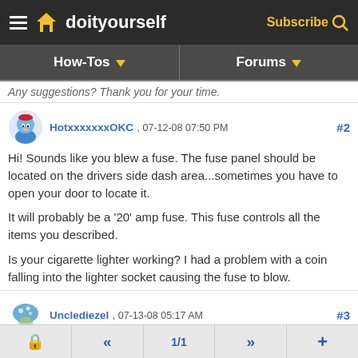doityourself — Subscribe
How-Tos | Forums
Any suggestions? Thank you for your time.
HotxxxxxxxOKC , 07-12-08 07:50 PM #2
Hi! Sounds like you blew a fuse. The fuse panel should be located on the drivers side dash area...sometimes you have to open your door to locate it.

It will probably be a '20' amp fuse. This fuse controls all the items you described.

Is your cigarette lighter working? I had a problem with a coin falling into the lighter socket causing the fuse to blow.
Unclediezel , 07-13-08 05:17 AM #3
🔒  «  1/1  »  +